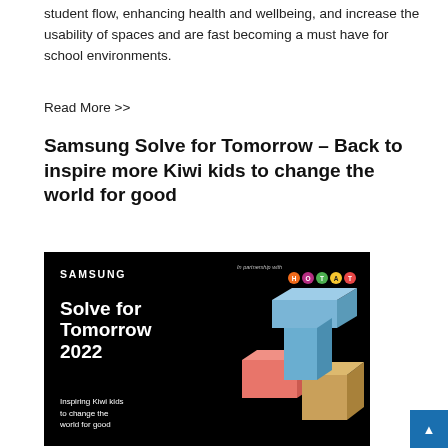student flow, enhancing health and wellbeing, and increase the usability of spaces and are fast becoming a must have for school environments.
Read More >>
Samsung Solve for Tomorrow – Back to inspire more Kiwi kids to change the world for good
[Figure (illustration): Samsung Solve for Tomorrow 2022 promotional image on black background with colorful 3D geometric blocks and HOTAT partnership logos. Text: SAMSUNG, Solve for Tomorrow 2022, Inspiring Kiwi kids to change the world for good.]
Many Kiwis have a desire to change the world in some way. Whether it's a little thing like raising awareness of education, or the more…